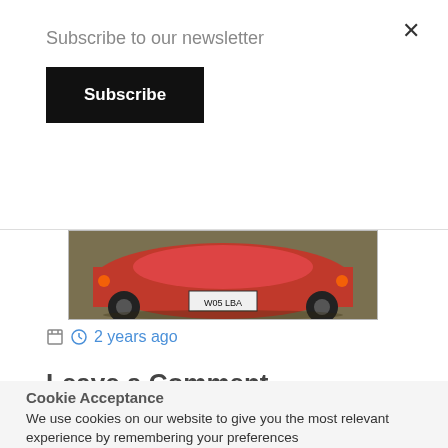Subscribe to our newsletter
Subscribe
[Figure (photo): Red car photographed from behind/side, parked on a surface, showing license plate]
2 years ago
Leave a Comment
You must be logged in to post a comment.
Previous EVANS TRANSPORT LIMITED
Cookie Acceptance
We use cookies on our website to give you the most relevant experience by remembering your preferences